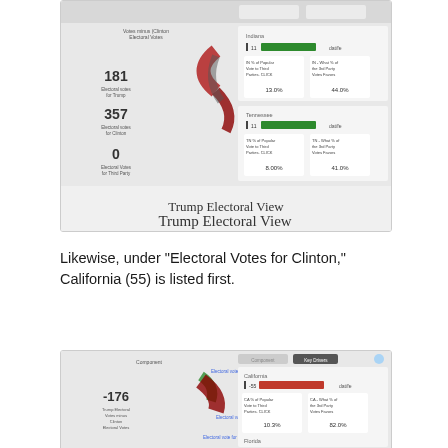[Figure (screenshot): Screenshot of Trump Electoral View dashboard showing electoral votes breakdown: 181 Electoral votes for Trump, 357 Electoral votes for Clinton, 0 Electoral votes for Third Party. On the right side shows Indiana and Tennessee data with green bars and statistics (Indiana: IN % of Popular Vote to Third Parties CLICK 13.0%, IN - What % of the 3rd Party Votes Favors 44.0%; Tennessee: TN % of Popular Vote to Third Parties CLICK 8.00%, TN - What % of the 3rd Party Votes Favors 41.0%).]
Trump Electoral View
Likewise, under “Electoral Votes for Clinton,” California (55) is listed first.
[Figure (screenshot): Screenshot of Clinton Electoral View dashboard showing Component view with Key Drivers tab selected. Left side shows -176 Trump Electoral votes with Electoral vote for Trump and Electoral vote for Clinton labels. Right side shows California -55 with red bar (CA % of Popular Vote to Third Parties CLICK 10.3%, CA - What % of the 3rd Party Votes Favors 82.0%) and Florida section beginning at bottom.]